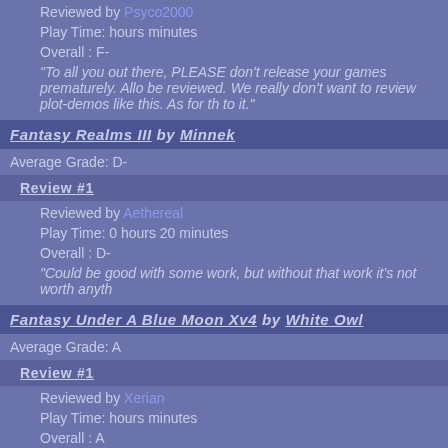Reviewed by Psyco2000
Play Time: hours minutes
Overall : F-
"To all you out there, PLEASE don't release your games prematurely. Allo be reviewed. We really don't want to review plot-demos like this. As for th to it."
Fantasy Realms III by Minnek
Average Grade: D-
Review #1
Reviewed by Aethereal
Play Time: 0 hours 20 minutes
Overall : D-
"Could be good with some work, but without that work it's not worth anyth
Fantasy Under A Blue Moon Xv4 by White Owl
Average Grade: A
Review #1
Reviewed by Xerian
Play Time: hours minutes
Overall : A
"Difficulty and a few bugs are the only thing keeping this game from being classic or whatever you would like to call it. Get it now!"
Review #2
Reviewed by djfenix